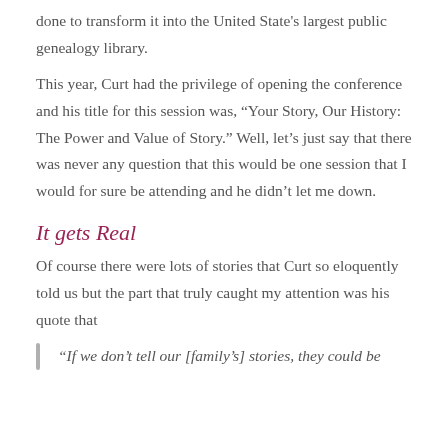done to transform it into the United State's largest public genealogy library.
This year, Curt had the privilege of opening the conference and his title for this session was, “Your Story, Our History: The Power and Value of Story.” Well, let’s just say that there was never any question that this would be one session that I would for sure be attending and he didn’t let me down.
It gets Real
Of course there were lots of stories that Curt so eloquently told us but the part that truly caught my attention was his quote that
“If we don’t tell our [family’s] stories, they could be